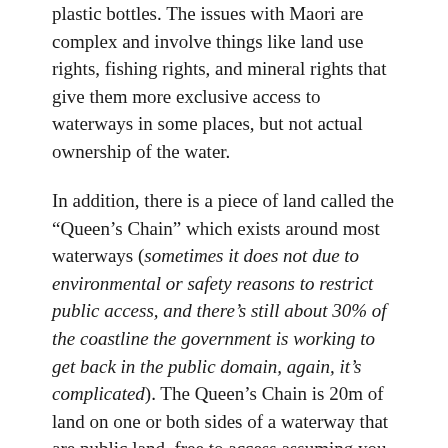plastic bottles. The issues with Maori are complex and involve things like land use rights, fishing rights, and mineral rights that give them more exclusive access to waterways in some places, but not actual ownership of the water.
In addition, there is a piece of land called the "Queen's Chain" which exists around most waterways (sometimes it does not due to environmental or safety reasons to restrict public access, and there's still about 30% of the coastline the government is working to get back in the public domain, again, it's complicated). The Queen's Chain is 20m of land on one or both sides of a waterway that are public land, free to access assuming you don't have to tromp through private property to get there. I'm told sometimes the farmers get stroppy (with shotguns) about